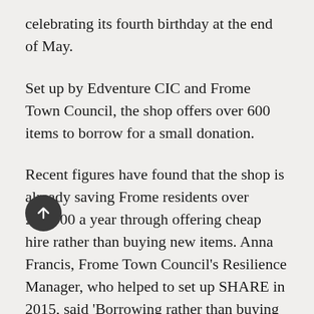celebrating its fourth birthday at the end of May.
Set up by Edventure CIC and Frome Town Council, the shop offers over 600 items to borrow for a small donation.
Recent figures have found that the shop is already saving Frome residents over £65,000 a year through offering cheap hire rather than buying new items. Anna Francis, Frome Town Council's Resilience Manager, who helped to set up SHARE in 2015, said 'Borrowing rather than buying makes so much sense – it saves money and storage space and also cuts ca[rbon] emissions and waste. When you need tools or are planning a party it's really worth having a quick look at the on-line inventory to see what you can